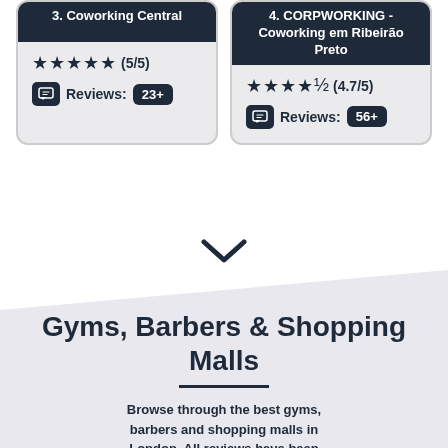3. Coworking Central
★★★★★ (5/5) Reviews: 23+
4. CORPWORKING - Coworking em Ribeirão Preto
★★★★½ (4.7/5) Reviews: 56+
Gyms, Barbers & Shopping Malls
Browse through the best gyms, barbers and shopping malls in London. All reviews have been collected, vetted and categorised from across the web.
Gyms